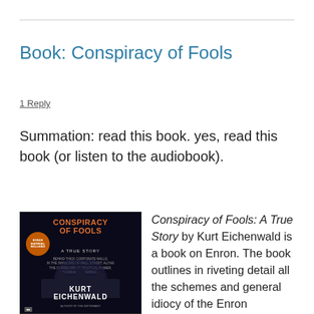Book: Conspiracy of Fools
1 Reply
Summation: read this book. yes, read this book (or listen to the audiobook).
[Figure (photo): Book cover of 'Conspiracy of Fools: A True Story' audiobook by Kurt Eichenwald. Dark background with silhouettes of people and orange title text.]
Conspiracy of Fools: A True Story by Kurt Eichenwald is a book on Enron. The book outlines in riveting detail all the schemes and general idiocy of the Enron employees